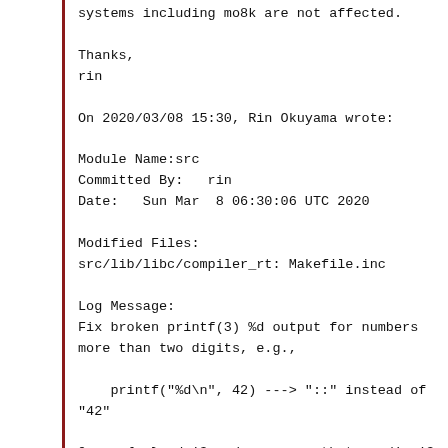systems including mo8k are not affected.

Thanks,
rin

On 2020/03/08 15:30, Rin Okuyama wrote:

Module Name:src
Committed By:   rin
Date:   Sun Mar  8 06:30:06 UTC 2020

Modified Files:
src/lib/libc/compiler_rt: Makefile.inc

Log Message:
Fix broken printf(3) %d output for numbers
more than two digits, e.g.,

    printf("%d\n", 42) ---> "::" instead of
"42"

Our __{,u}modsi3 codes assume that __udivsi3
returns remainder to
%1t{,s}ti{register} according if in alt